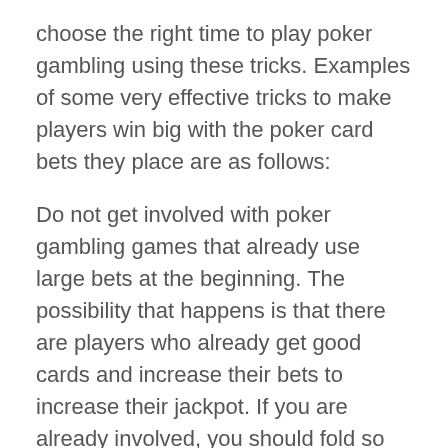choose the right time to play poker gambling using these tricks. Examples of some very effective tricks to make players win big with the poker card bets they place are as follows:
Do not get involved with poker gambling games that already use large bets at the beginning. The possibility that happens is that there are players who already get good cards and increase their bets to increase their jackpot. If you are already involved, you should fold so that there are no losses that arise from the bets you play.
Fold can be done if the card that the player gets is bad. This option to fold is not to lose but to avoid poker gambling games that are very detrimental to players. After all, it's